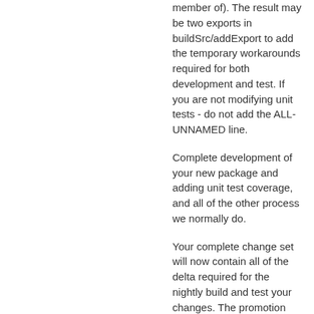member of). The result may be two exports in buildSrc/addExport to add the temporary workarounds required for both development and test. If you are not modifying unit tests - do not add the ALL-UNNAMED line.
Complete development of your new package and adding unit test coverage, and all of the other process we normally do.
Your complete change set will now contain all of the delta required for the nightly build and test your changes. The promotion process will soon merge your module-info changes into the JDK. Once there is a promoted JDK that has